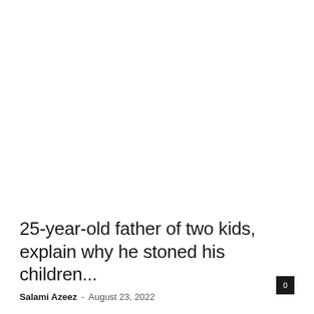25-year-old father of two kids, explain why he stoned his children...
Salami Azeez - August 23, 2022